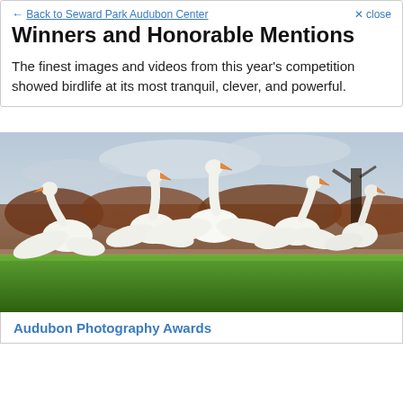← Back to Seward Park Audubon Center  ✕ close
Winners and Honorable Mentions
The finest images and videos from this year's competition showed birdlife at its most tranquil, clever, and powerful.
[Figure (photo): A group of white swans with wings spread, standing on green grass with a blurred background of brown brush and overcast sky]
Audubon Photography Awards